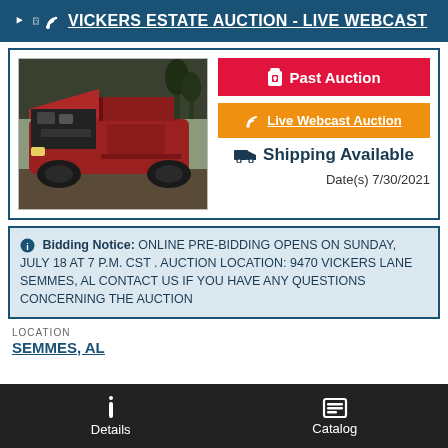VICKERS ESTATE AUCTION - LIVE WEBCAST
[Figure (photo): Red pickup truck with hood open showing engine, parked in an outdoor area]
Past Auction
Live Webcast Auction
Shipping Available
Date(s) 7/30/2021
Bidding Notice: ONLINE PRE-BIDDING OPENS ON SUNDAY, JULY 18 AT 7 P.M. CST . AUCTION LOCATION: 9470 VICKERS LANE SEMMES, AL CONTACT US IF YOU HAVE ANY QUESTIONS CONCERNING THE AUCTION
LOCATION
SEMMES, AL
Details
Catalog